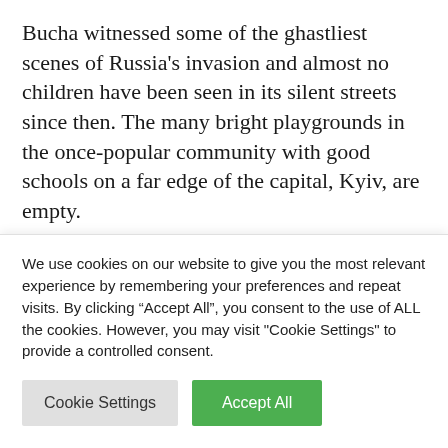Bucha witnessed some of the ghastliest scenes of Russia's invasion and almost no children have been seen in its silent streets since then. The many bright playgrounds in the once-popular community with good schools on a far edge of the capital, Kyiv, are empty.
It is here that Bucha's fragile renewal can be seen.
A small group of neighborhood children gathered, finding distraction from the war. Bundled up in winter coats, they
We use cookies on our website to give you the most relevant experience by remembering your preferences and repeat visits. By clicking “Accept All”, you consent to the use of ALL the cookies. However, you may visit "Cookie Settings" to provide a controlled consent.